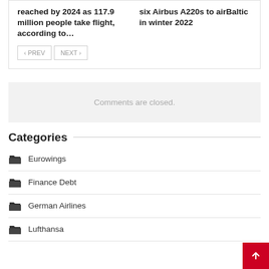reached by 2024 as 117.9 million people take flight, according to…
six Airbus A220s to airBaltic in winter 2022
Comments are closed.
Categories
Eurowings
Finance Debt
German Airlines
Lufthansa